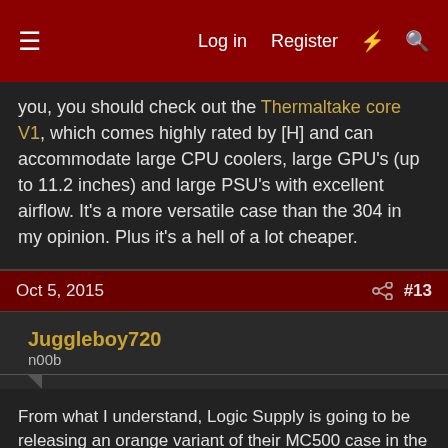Log in  Register  #  Search
you, you should check out the Thermaltake core V1, which comes highly rated by [H] and can accommodate large CPU coolers, large GPU's (up to 11.2 inches) and large PSU's with excellent airflow. It's a more versatile case than the 304 in my opinion. Plus it's a hell of a lot cheaper.
Oct 5, 2015  #13
Juggleboy720
n00b
From what I understand, Logic Supply is going to be releasing an orange variant of their MC500 case in the near future -
http://www.logicsupply.com/products/components/cases/mini-itx/
Oct 5, 2015  #14